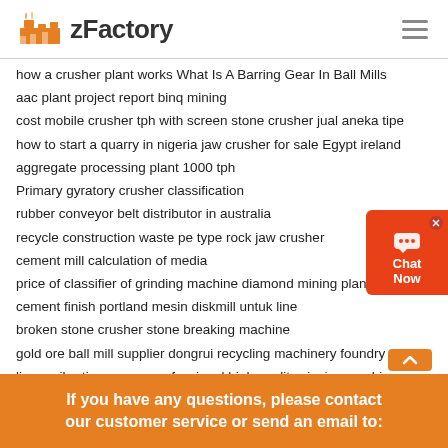zFactory
how a crusher plant works What Is A Barring Gear In Ball Mills
aac plant project report binq mining
cost mobile crusher tph with screen stone crusher jual aneka tipe
how to start a quarry in nigeria jaw crusher for sale Egypt ireland
aggregate processing plant 1000 tph
Primary gyratory crusher classification
rubber conveyor belt distributor in australia
recycle construction waste pe type rock jaw crusher
cement mill calculation of media
price of classifier of grinding machine diamond mining plants
cement finish portland mesin diskmill untuk line
broken stone crusher stone breaking machine
gold ore ball mill supplier dongrui recycling machinery foundry sand
linear vibrating screen professional high quality sieving machine
If you have any questions, please contact our customer service or send an email to: